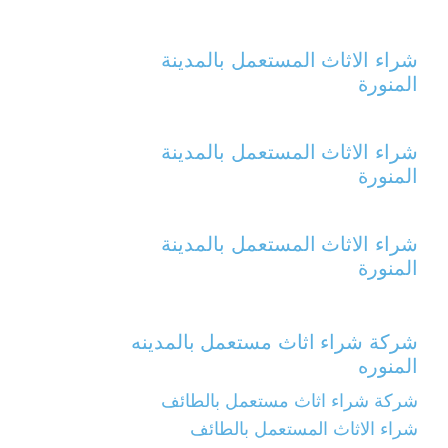شراء الاثاث المستعمل بالمدينة المنورة
شراء الاثاث المستعمل بالمدينة المنورة
شراء الاثاث المستعمل بالمدينة المنورة
شركة شراء اثاث مستعمل بالمدينه المنوره
شركة شراء اثاث مستعمل بالطائف
شراء الاثاث المستعمل بالطائف